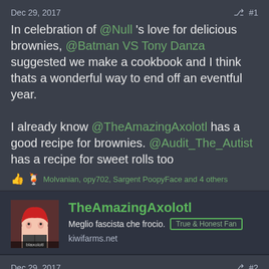Dec 29, 2017  #1
In celebration of @Null 's love for delicious brownies, @Batman VS Tony Danza suggested we make a cookbook and I think thats a wonderful way to end off an eventful year.

I already know @TheAmazingAxolotl has a good recipe for brownies. @Audit_The_Autist has a recipe for sweet rolls too
Molvanian, opy702, Sargent PoopyFace and 4 others
TheAmazingAxolotl
Meglio fascista che frocio. kiwifarms.net
Dec 29, 2017  #2
In the spirit of DSP's brownie saga, here is my decadent brownie recipe as I've written in my own ledgers: